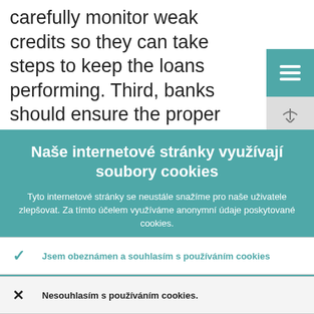carefully monitor weak credits so they can take steps to keep the loans performing. Third, banks should ensure the proper management of collateral. Fourth, they
Naše internetové stránky využívají soubory cookies
Tyto internetové stránky se neustále snažíme pro naše uživatele zlepšovat. Za tímto účelem využíváme anonymní údaje poskytované cookies.
› Více informací o tom, jak využíváme cookies
✓ Jsem obeznámen a souhlasím s používáním cookies
✗ Nesouhlasím s používáním cookies.